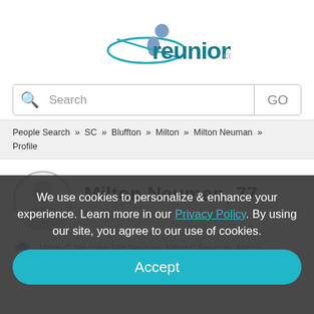[Figure (logo): Reunion.com logo with teal text and a figure/orbit graphic above]
[Figure (screenshot): Search bar with magnifying glass icon, text 'Search', and 'GO' button]
People Search » SC » Bluffton » Milton » Milton Neuman » Profile
Milton Neuman, 77
Bluffton, SC
Milton C Neuman, Milt Neuman, Miton C Neuman, Milton
We use cookies to personalize & enhance your experience. Learn more in our Privacy Policy. By using our site, you agree to our use of cookies.
Accept